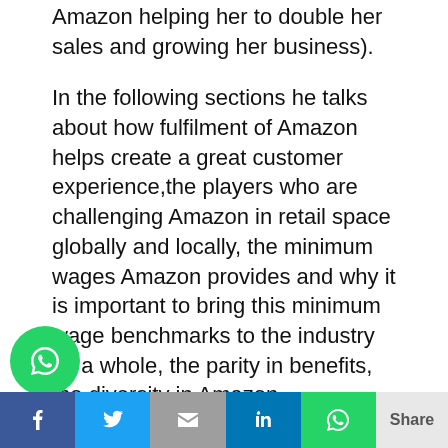Amazon helping her to double her sales and growing her business).
In the following sections he talks about how fulfilment of Amazon helps create a great customer experience,the players who are challenging Amazon in retail space globally and locally, the minimum wages Amazon provides and why it is important to bring this minimum wage benchmarks to the industry as a whole, the parity in benefits, the diversity in Amazon shareholding (80% shares owned by outsiders), how growth of Amazon helps its investors such as pension funds bling people to retire better ($1 trillion ealth created fo ts r t.